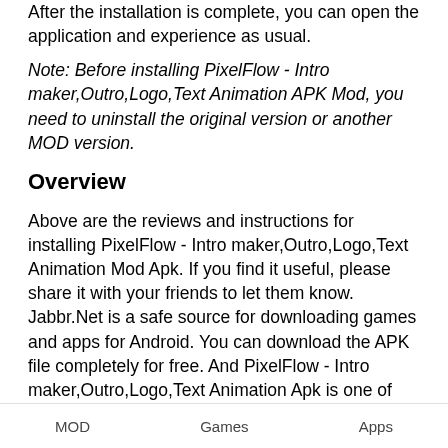After the installation is complete, you can open the application and experience as usual.
Note: Before installing PixelFlow - Intro maker,Outro,Logo,Text Animation APK Mod, you need to uninstall the original version or another MOD version.
Overview
Above are the reviews and instructions for installing PixelFlow - Intro maker,Outro,Logo,Text Animation Mod Apk. If you find it useful, please share it with your friends to let them know. Jabbr.Net is a safe source for downloading games and apps for Android. You can download the APK file completely for free. And PixelFlow - Intro maker,Outro,Logo,Text Animation Apk is one of them. It belongs to the category of Video Players & Editors and has been
MOD    Games    Apps